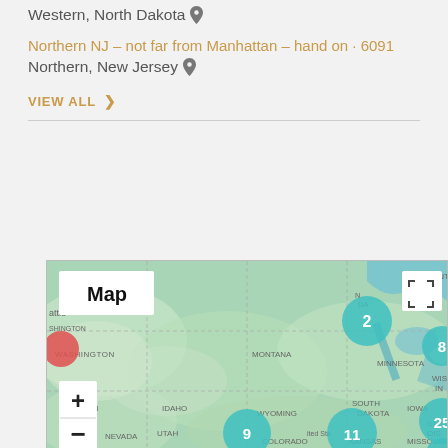Western, North Dakota
Northern NJ – not far from Manhattan – hand on · 6091
Northern, New Jersey
VIEW ALL >
[Figure (map): Interactive map showing northern United States with cluster markers. States visible: Washington, Oregon, Idaho, Montana, Wyoming, Nevada, Utah, Colorado, South Dakota, Nebraska, Kansas, Iowa, Minnesota, Wisconsin, Missouri, Illinois. Cluster markers: 2 (North Dakota area), 8 (Minnesota/Wisconsin area), 9 (Colorado area), 11 (Kansas area), 25 (Illinois area), 7 (Missouri area). Red marker in Washington state area. Map button and zoom controls overlay.]